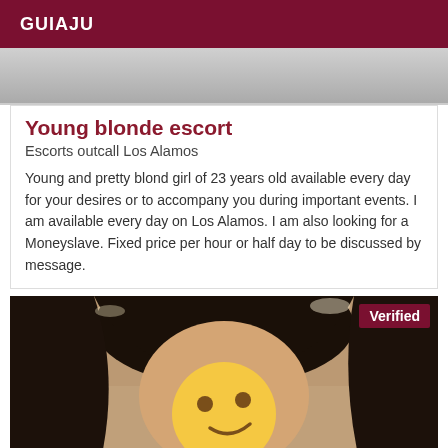GUIAJU
[Figure (photo): Top partial photo, grayscale, person upper body/background]
Young blonde escort
Escorts outcall Los Alamos
Young and pretty blond girl of 23 years old available every day for your desires or to accompany you during important events. I am available every day on Los Alamos. I am also looking for a Moneyslave. Fixed price per hour or half day to be discussed by message.
[Figure (photo): Photo of person with dark hair, face covered by smirking emoji. Verified badge in top right corner.]